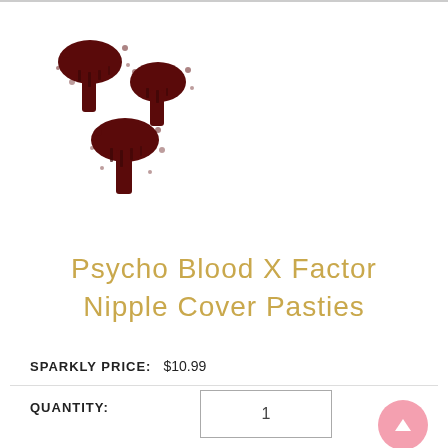[Figure (logo): Dark maroon/brown mushroom-like X-shaped logo mark made of overlapping mushroom shapes]
Psycho Blood X Factor Nipple Cover Pasties
SPARKLY PRICE:    $10.99
QUANTITY:   1